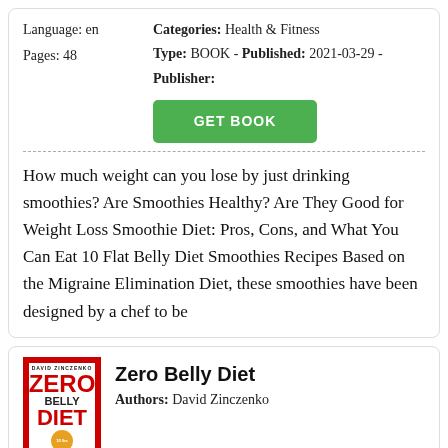Language: en   Categories: Health & Fitness
Pages: 48   Type: BOOK - Published: 2021-03-29 - Publisher:
[Figure (other): Green GET BOOK button]
How much weight can you lose by just drinking smoothies? Are Smoothies Healthy? Are They Good for Weight Loss Smoothie Diet: Pros, Cons, and What You Can Eat 10 Flat Belly Diet Smoothies Recipes Based on the Migraine Elimination Diet, these smoothies have been designed by a chef to be
[Figure (illustration): Book cover of Zero Belly Diet by David Zinczenko]
Zero Belly Diet
Authors: David Zinczenko